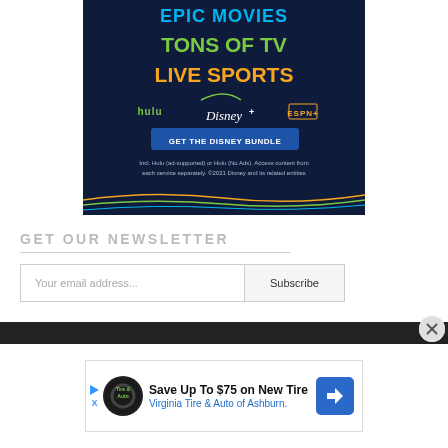[Figure (infographic): Disney Bundle advertisement with dark navy background showing 'EPIC MOVIES', 'TONS OF TV', 'LIVE SPORTS' text, Hulu, Disney+, ESPN+ logos, and 'GET THE DISNEY BUNDLE' button.]
GET OUR NEWSLETTER
Your email address...
Subscribe
[Figure (infographic): Virginia Tire and Auto advertisement: 'Save Up To $75 on New Tire, Virginia Tire & Auto of Ashburn.']